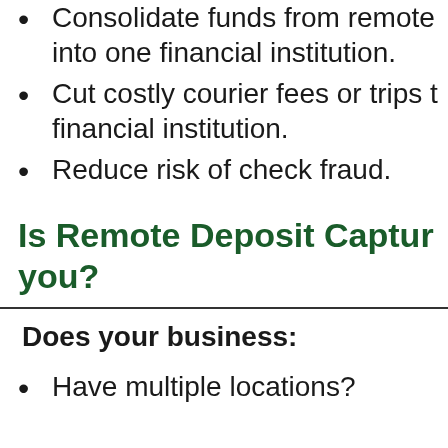Consolidate funds from remote into one financial institution.
Cut costly courier fees or trips to financial institution.
Reduce risk of check fraud.
Is Remote Deposit Capture right for you?
Does your business:
Have multiple locations?